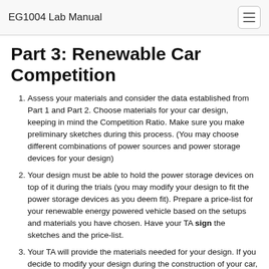EG1004 Lab Manual
Part 3: Renewable Car Competition
Assess your materials and consider the data established from Part 1 and Part 2. Choose materials for your car design, keeping in mind the Competition Ratio. Make sure you make preliminary sketches during this process. (You may choose different combinations of power sources and power storage devices for your design)
Your design must be able to hold the power storage devices on top of it during the trials (you may modify your design to fit the power storage devices as you deem fit). Prepare a price-list for your renewable energy powered vehicle based on the setups and materials you have chosen. Have your TA sign the sketches and the price-list.
Your TA will provide the materials needed for your design. If you decide to modify your design during the construction of your car, note the changes and describe the reasons for them. If the modifications required more materials to be used, make sure you update your price list and your TA